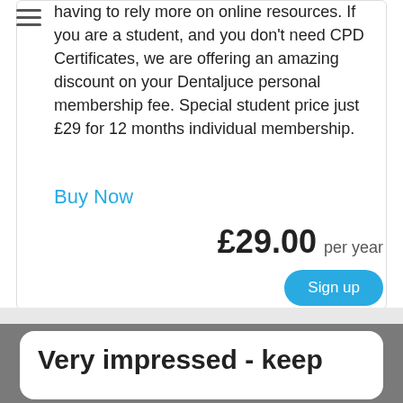having to rely more on online resources. If you are a student, and you don't need CPD Certificates, we are offering an amazing discount on your Dentaljuce personal membership fee. Special student price just £29 for 12 months individual membership.
Buy Now
£29.00 per year
Sign up
Very impressed - keep